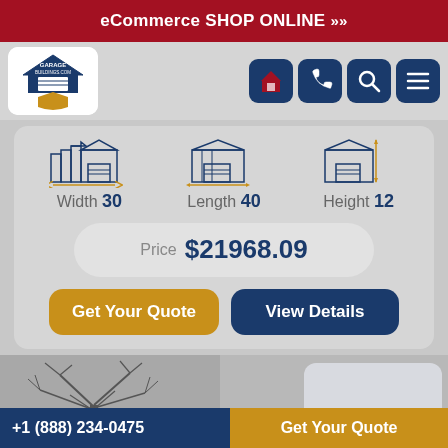eCommerce SHOP ONLINE »»
[Figure (logo): GarageBuildings.com logo — white box with navy garage building logo and shield badge]
[Figure (infographic): Navigation icons: barn/building icon, phone icon, search magnifying glass icon, hamburger menu icon — all on dark navy rounded square buttons]
[Figure (infographic): Three garage building icons labeled Width 30, Length 40, Height 12]
Price $21968.09
Get Your Quote
View Details
[Figure (photo): Bare winter tree silhouette against grey background, with a white rounded rectangle on the right side]
+1 (888) 234-0475   Get Your Quote